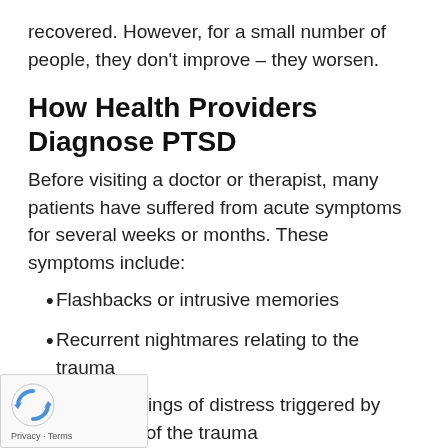recovered. However, for a small number of people, they don't improve – they worsen.
How Health Providers Diagnose PTSD
Before visiting a doctor or therapist, many patients have suffered from acute symptoms for several weeks or months. These symptoms include:
Flashbacks or intrusive memories
Recurrent nightmares relating to the trauma
Strong feelings of distress triggered by reminders of the trauma
Physical symptoms such as sweating, muscle tension, nausea, rapid breathing, or increased